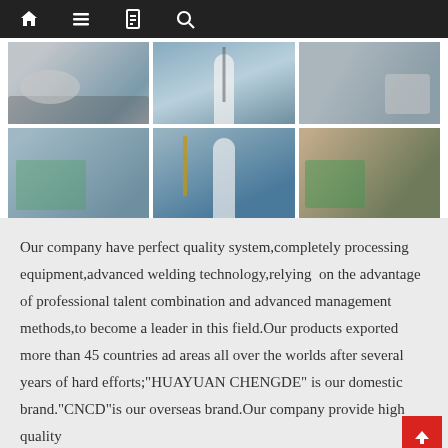Navigation bar with home, menu, document, and search icons
[Figure (photo): Grid of six industrial photos showing large cryogenic tanks and pressure vessels being transported on trucks and loaded by crane at a shipping yard]
Our company have perfect quality system,completely processing equipment,advanced welding technology,relying  on the advantage of professional talent combination and advanced management methods,to become a leader in this field.Our products exported more than 45 countries ad areas all over the worlds after several years of hard efforts;"HUAYUAN CHENGDE" is our domestic brand."CNCD"is our overseas brand.Our company provide high quality